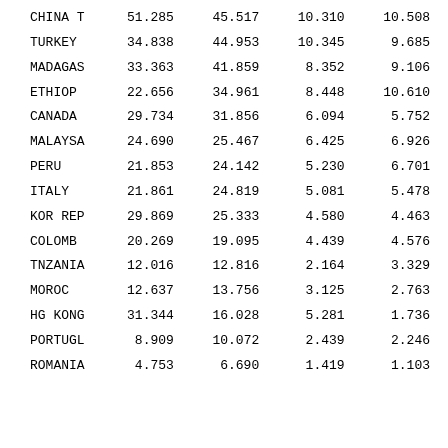| CHINA T | 51.285 | 45.517 | 10.310 | 10.508 |
| TURKEY | 34.838 | 44.953 | 10.345 | 9.685 |
| MADAGAS | 33.363 | 41.859 | 8.352 | 9.106 |
| ETHIOP | 22.656 | 34.961 | 8.448 | 10.610 |
| CANADA | 29.734 | 31.856 | 6.094 | 5.752 |
| MALAYSA | 24.690 | 25.467 | 6.425 | 6.926 |
| PERU | 21.853 | 24.142 | 5.230 | 6.701 |
| ITALY | 21.861 | 24.819 | 5.081 | 5.478 |
| KOR REP | 29.869 | 25.333 | 4.580 | 4.463 |
| COLOMB | 20.269 | 19.095 | 4.439 | 4.576 |
| TNZANIA | 12.016 | 12.816 | 2.164 | 3.329 |
| MOROC | 12.637 | 13.756 | 3.125 | 2.763 |
| HG KONG | 31.344 | 16.028 | 5.281 | 1.736 |
| PORTUGL | 8.909 | 10.072 | 2.439 | 2.246 |
| ROMANIA | 4.753 | 6.690 | 1.419 | 1.103 |